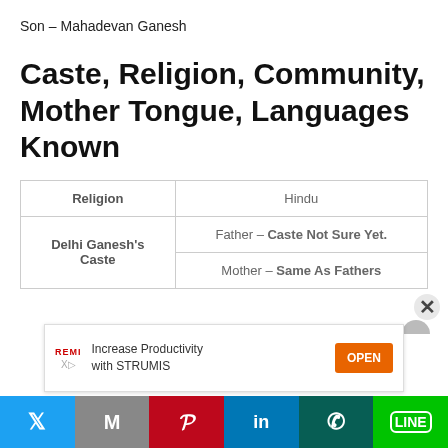Son – Mahadevan Ganesh
Caste, Religion, Community, Mother Tongue, Languages Known
|  |  |
| --- | --- |
| Religion | Hindu |
| Delhi Ganesh's Caste | Father – Caste Not Sure Yet.
Mother – Same As Fathers |
[Figure (screenshot): Advertisement banner: Increase Productivity with STRUMIS, OPEN button]
[Figure (infographic): Social sharing bar with Twitter, Gmail, Pinterest, LinkedIn, WhatsApp, Line buttons]